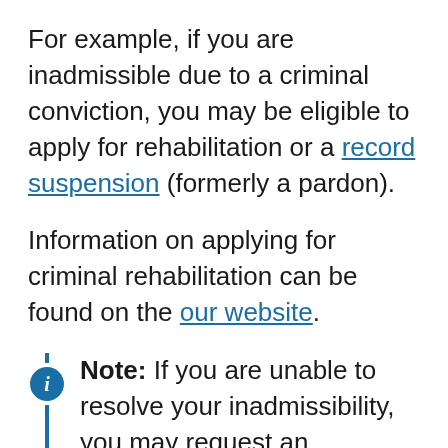For example, if you are inadmissible due to a criminal conviction, you may be eligible to apply for rehabilitation or a record suspension (formerly a pardon).
Information on applying for criminal rehabilitation can be found on the our website.
Note: If you are unable to resolve your inadmissibility, you may request an exemption on humanitarian and compassionate grounds to overcome the inadmissibility; however such